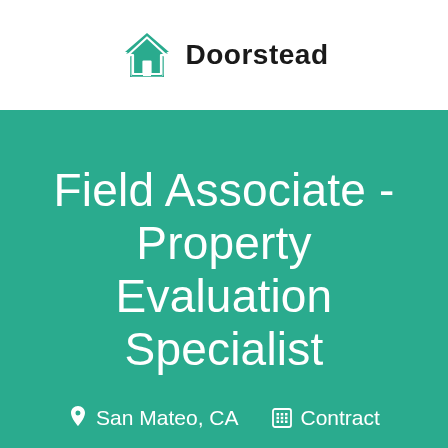[Figure (logo): Doorstead logo: teal house icon with white door, next to bold text 'Doorstead']
Field Associate - Property Evaluation Specialist
San Mateo, CA   Contract